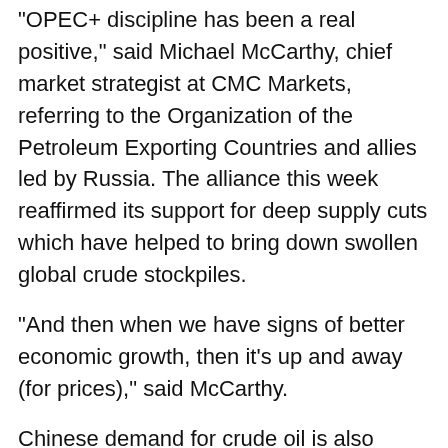"OPEC+ discipline has been a real positive," said Michael McCarthy, chief market strategist at CMC Markets, referring to the Organization of the Petroleum Exporting Countries and allies led by Russia. The alliance this week reaffirmed its support for deep supply cuts which have helped to bring down swollen global crude stockpiles.
"And then when we have signs of better economic growth, then it's up and away (for prices)," said McCarthy.
Chinese demand for crude oil is also helping support the market, as shown by industry tracking that reports two tankers of North Sea crude oil heading to China for March 22 and March 24, said Axi global market strategist Stephen Innes.
"When demand drives commodity prices, it has a more bullish impact and leaves a more lasting reflection on price action," Innes said in a note.
(Reporting by Sonali Paul in Melbourne, Roslan Khasawneh